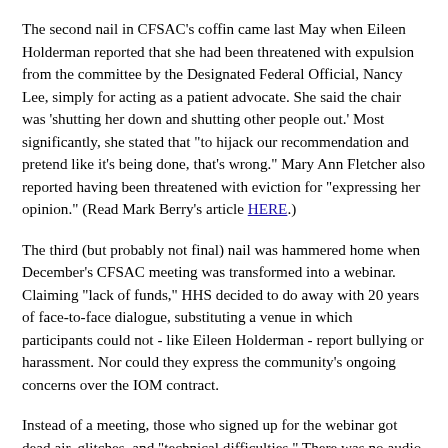The second nail in CFSAC's coffin came last May when Eileen Holderman reported that she had been threatened with expulsion from the committee by the Designated Federal Official, Nancy Lee, simply for acting as a patient advocate. She said the chair was 'shutting her down and shutting other people out.' Most significantly, she stated that "to hijack our recommendation and pretend like it's being done, that's wrong." Mary Ann Fletcher also reported having been threatened with eviction for "expressing her opinion." (Read Mark Berry's article HERE.)
The third (but probably not final) nail was hammered home when December's CFSAC meeting was transformed into a webinar. Claiming "lack of funds," HHS decided to do away with 20 years of face-to-face dialogue, substituting a venue in which participants could not - like Eileen Holderman - report bullying or harassment. Nor could they express the community's ongoing concerns over the IOM contract.
Instead of a meeting, those who signed up for the webinar got dead air, glitches, and "technical difficulties." There was no audio, so people listening on their computers heard nothing for the first 20 minutes